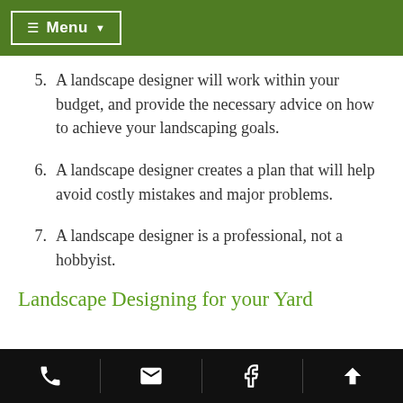≡ Menu ▾
5. A landscape designer will work within your budget, and provide the necessary advice on how to achieve your landscaping goals.
6. A landscape designer creates a plan that will help avoid costly mistakes and major problems.
7. A landscape designer is a professional, not a hobbyist.
Landscape Designing for your Yard
phone | email | facebook | up